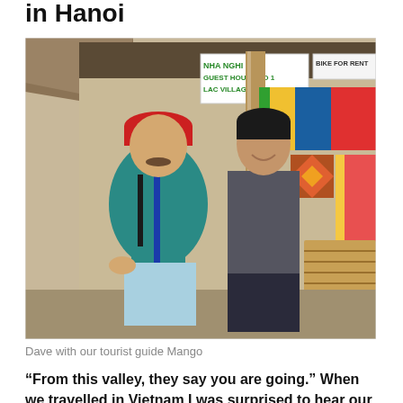in Hanoi
[Figure (photo): Two men standing in front of a guest house / shop in a Vietnamese village. The man on the left wears a red cap and teal Adidas polo shirt with blue suspenders and light blue pants. The man on the right wears a dark grey sweater and dark jeans. Behind them is a sign reading 'NHA NGHI SO 1 / GUEST HOUSE NO 1 / LAC VILLAGE' and 'BIKE FOR RENT'. Various colourful textiles and goods are visible in the shop behind them.]
Dave with our tourist guide Mango
“From this valley, they say you are going.” When we travelled in Vietnam I was surprised to hear our